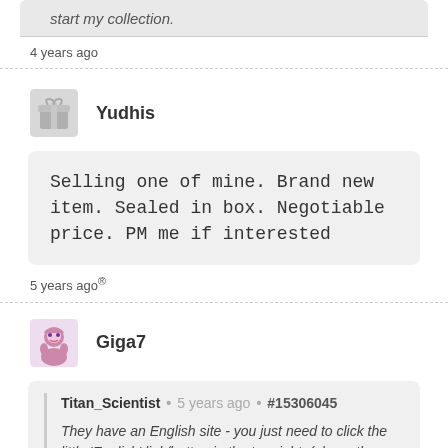start my collection.
4 years ago
Yudhis
Selling one of mine. Brand new item. Sealed in box. Negotiable price. PM me if interested
5 years ago®
Giga7
Titan_Scientist • 5 years ago • #15306045
They have an English site - you just need to click the little 'English' link/button in the top right. (above the basket icon.) I totally